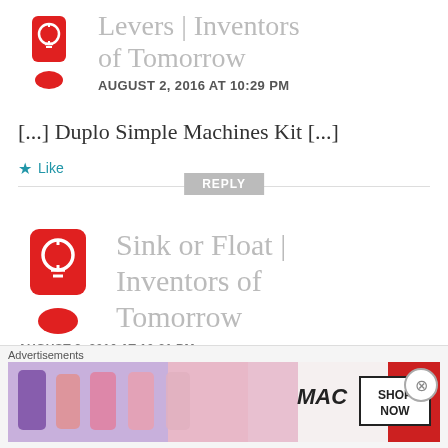[Figure (illustration): Red exclamation mark icon with lightbulb, avatar for 'Levers | Inventors of Tomorrow']
Levers | Inventors of Tomorrow
AUGUST 2, 2016 AT 10:29 PM
[...] Duplo Simple Machines Kit [...]
Like
REPLY
[Figure (illustration): Red exclamation mark icon with lightbulb, avatar for 'Sink or Float | Inventors of Tomorrow']
Sink or Float | Inventors of Tomorrow
AUGUST 2, 2016 AT 10:31 PM
Advertisements
[Figure (photo): MAC cosmetics advertisement showing lipsticks with SHOP NOW button]